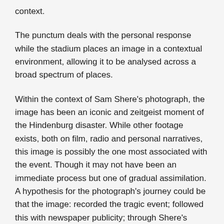context.
The punctum deals with the personal response while the stadium places an image in a contextual environment, allowing it to be analysed across a broad spectrum of places.
Within the context of Sam Shere's photograph, the image has been an iconic and zeitgeist moment of the Hindenburg disaster. While other footage exists, both on film, radio and personal narratives, this image is possibly the one most associated with the event. Though it may not have been an immediate process but one of gradual assimilation. A hypothesis for the photograph's journey could be that the image: recorded the tragic event; followed this with newspaper publicity; through Shere's connections became part of the museum and gallery collections, and finally moved into popular culture reference and marketing materials through an album cover and other